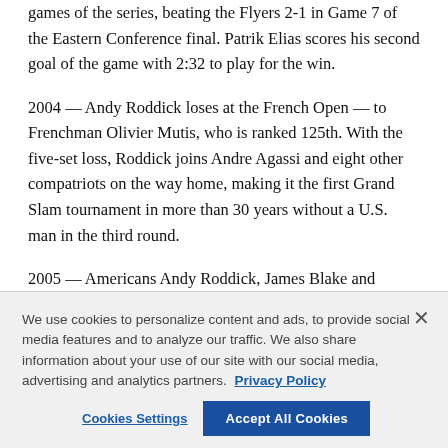games of the series, beating the Flyers 2-1 in Game 7 of the Eastern Conference final. Patrik Elias scores his second goal of the game with 2:32 to play for the win.
2004 — Andy Roddick loses at the French Open — to Frenchman Olivier Mutis, who is ranked 125th. With the five-set loss, Roddick joins Andre Agassi and eight other compatriots on the way home, making it the first Grand Slam tournament in more than 30 years without a U.S. man in the third round.
2005 — Americans Andy Roddick, James Blake and
We use cookies to personalize content and ads, to provide social media features and to analyze our traffic. We also share information about your use of our site with our social media, advertising and analytics partners. Privacy Policy
Cookies Settings
Accept All Cookies